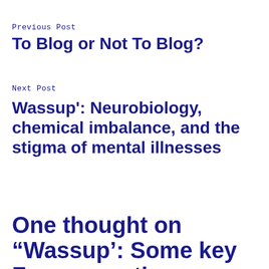Previous Post
To Blog or Not To Blog?
Next Post
Wassup': Neurobiology, chemical imbalance, and the stigma of mental illnesses
One thought on “Wassup’: Some key Frames on the treatment